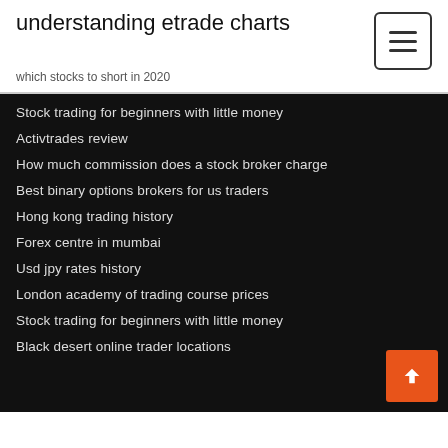understanding etrade charts
which stocks to short in 2020
Stock trading for beginners with little money
Activtrades review
How much commission does a stock broker charge
Best binary options brokers for us traders
Hong kong trading history
Forex centre in mumbai
Usd jpy rates history
London academy of trading course prices
Stock trading for beginners with little money
Black desert online trader locations